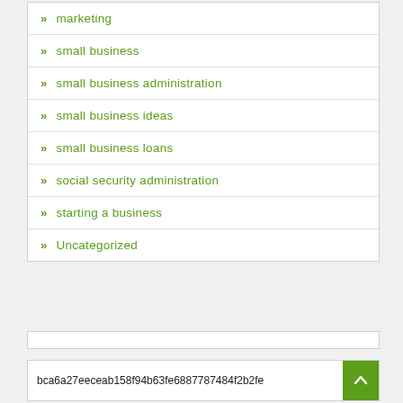marketing
small business
small business administration
small business ideas
small business loans
social security administration
starting a business
Uncategorized
bca6a27eeceab158f94b63fe6887787484f2b2fe